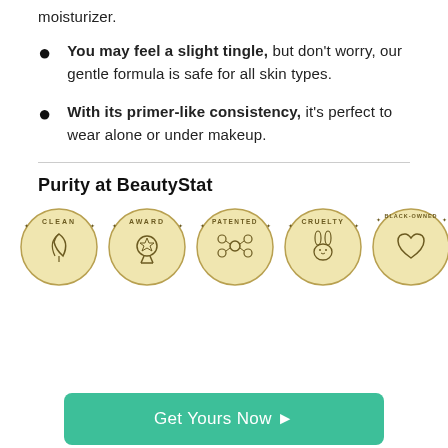moisturizer.
You may feel a slight tingle, but don't worry, our gentle formula is safe for all skin types.
With its primer-like consistency, it's perfect to wear alone or under makeup.
Purity at BeautyStat
[Figure (illustration): Five circular badge icons in cream/beige color: CLEAN (leaf icon), AWARD (medal icon), PATENTED (molecule icon), CRUELTY (rabbit icon), BLACK-OWNED (heart icon)]
Get Yours Now →